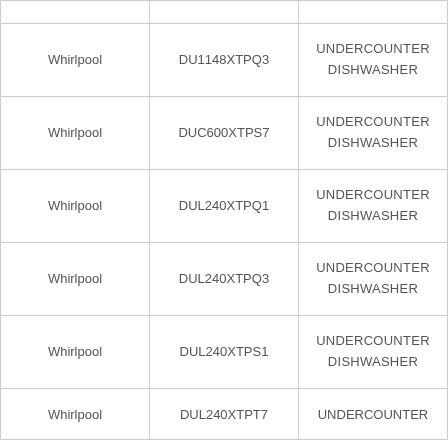| Whirlpool | DU1148XTPQ3 | UNDERCOUNTER DISHWASHER |
| Whirlpool | DUC600XTPS7 | UNDERCOUNTER DISHWASHER |
| Whirlpool | DUL240XTPQ1 | UNDERCOUNTER DISHWASHER |
| Whirlpool | DUL240XTPQ3 | UNDERCOUNTER DISHWASHER |
| Whirlpool | DUL240XTPS1 | UNDERCOUNTER DISHWASHER |
| Whirlpool | DUL240XTPT7 | UNDERCOUNTER ... |